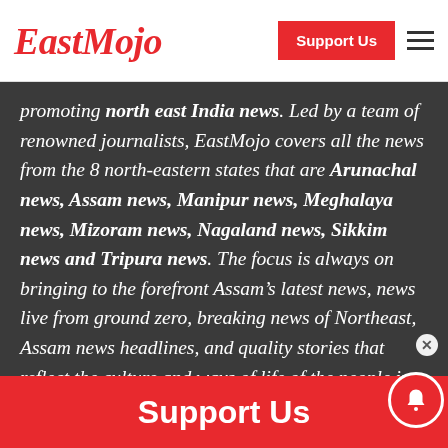EastMojo | Support Us
promoting north east India news. Led by a team of renowned journalists, EastMojo covers all the news from the 8 north-eastern states that are Arunachal news, Assam news, Manipur news, Meghalaya news, Mizoram news, Nagaland news, Sikkim news and Tripura news. The focus is always on bringing to the forefront Assam’s latest news, news live from ground zero, breaking news of Northeast, Assam news headlines, and quality stories that reflect the culture and ways of life of the people in the
Support Us